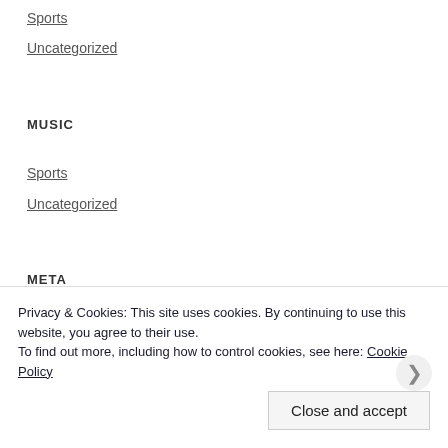Sports
Uncategorized
MUSIC
Sports
Uncategorized
META
Privacy & Cookies: This site uses cookies. By continuing to use this website, you agree to their use.
To find out more, including how to control cookies, see here: Cookie Policy
Close and accept